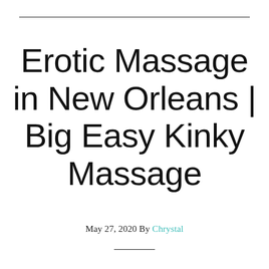Erotic Massage in New Orleans | Big Easy Kinky Massage
May 27, 2020 By Chrystal